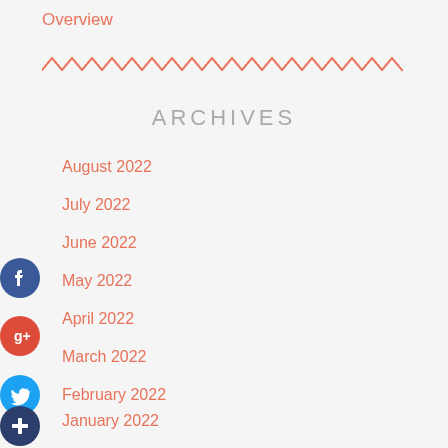Overview
[Figure (other): Zigzag/wavy decorative divider line in salmon/coral color]
ARCHIVES
August 2022
July 2022
June 2022
May 2022
April 2022
March 2022
February 2022
January 2022
December 2021
November 2021